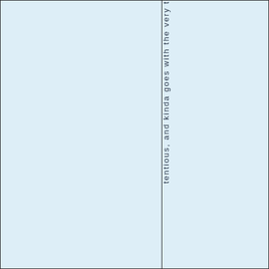[Figure (other): Two-column layout with light blue background panels. Left panel is blank. Right panel contains vertically oriented text reading 'tentious, and kinda goes with the very t' (text continues off page), rendered one character per line top to bottom.]
tentious, and kinda goes with the very t